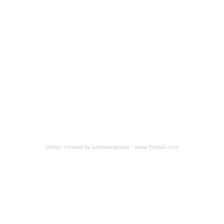Vector created by katemangostar - www.freepik.com